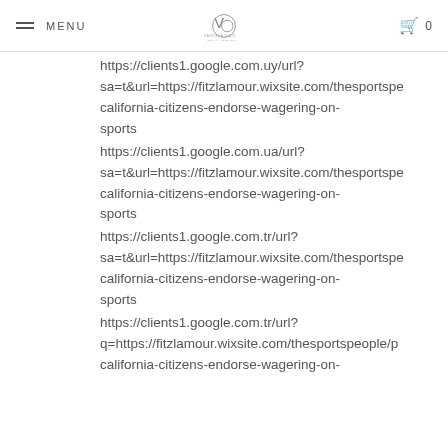MENU | VANESSA GADE METAL + DESIGN | 0
https://clients1.google.com.uy/url?
sa=t&url=https://fitzlamour.wixsite.com/thesportspeople/california-citizens-endorse-wagering-on-sports
https://clients1.google.com.ua/url?
sa=t&url=https://fitzlamour.wixsite.com/thesportspeople/california-citizens-endorse-wagering-on-sports
https://clients1.google.com.tr/url?
sa=t&url=https://fitzlamour.wixsite.com/thesportspeople/california-citizens-endorse-wagering-on-sports
https://clients1.google.com.tr/url?
q=https://fitzlamour.wixsite.com/thesportspeople/california-citizens-endorse-wagering-on-